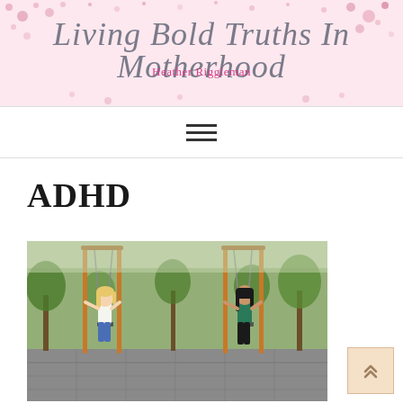Living Bold Truths In Motherhood — Heather Riggleman
[Figure (illustration): Navigation hamburger menu icon with three horizontal lines]
ADHD
[Figure (photo): Two women sitting on swings in a park playground, one blonde in white top and blue jeans, one with dark hair in teal jacket and black pants. Outdoor setting with trees and paved area in background.]